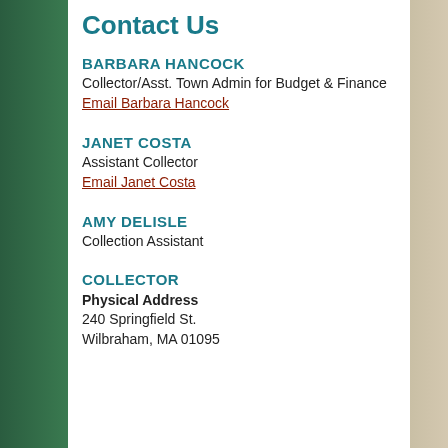Contact Us
BARBARA HANCOCK
Collector/Asst. Town Admin for Budget & Finance
Email Barbara Hancock
JANET COSTA
Assistant Collector
Email Janet Costa
AMY DELISLE
Collection Assistant
COLLECTOR
Physical Address
240 Springfield St.
Wilbraham, MA 01095